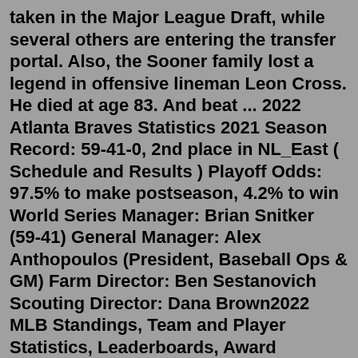taken in the Major League Draft, while several others are entering the transfer portal. Also, the Sooner family lost a legend in offensive lineman Leon Cross. He died at age 83. And beat ... 2022 Atlanta Braves Statistics 2021 Season Record: 59-41-0, 2nd place in NL_East ( Schedule and Results ) Playoff Odds: 97.5% to make postseason, 4.2% to win World Series Manager: Brian Snitker (59-41) General Manager: Alex Anthopoulos (President, Baseball Ops & GM) Farm Director: Ben Sestanovich Scouting Director: Dana Brown2022 MLB Standings, Team and Player Statistics, Leaderboards, Award Winners, Trades, Minor Leagues, Fielding, Batting, Pitching, New Debuts Sortable, downloadable MLB player stats for the 2022 season. League. All MLB NL AL. Filter. All Players Qualified Leaders. Season. 2022 2021 2020 2019 2018 2017 2016 2015 2014 2013 2012 2011 2010. 2022 MLB Player Stats. Batters. Pitchers. C. 1B. 2B. 3B. SS. OF. DH. Loading Batter Player Stats. Loading Pitcher Player Stats.SB. Stolen Bases When the